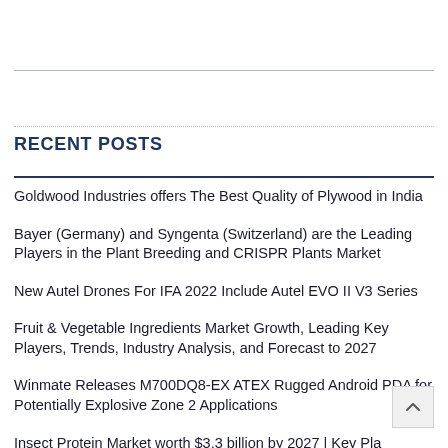RECENT POSTS
Goldwood Industries offers The Best Quality of Plywood in India
Bayer (Germany) and Syngenta (Switzerland) are the Leading Players in the Plant Breeding and CRISPR Plants Market
New Autel Drones For IFA 2022 Include Autel EVO II V3 Series
Fruit & Vegetable Ingredients Market Growth, Leading Key Players, Trends, Industry Analysis, and Forecast to 2027
Winmate Releases M700DQ8-EX ATEX Rugged Android PDA for Potentially Explosive Zone 2 Applications
Insect Protein Market worth $3.3 billion by 2027 | Key Players: EnviroFlight, InnovaFeed, Protix, Global Bugs, Entomo Farms, and Y...